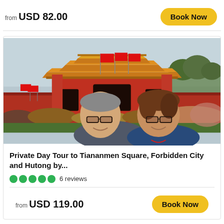from USD 82.00
Book Now
[Figure (photo): Two tourists (a man and a woman wearing sunglasses) posing in front of Tiananmen Gate in Beijing, China. Red flags and traditional Chinese architecture visible in background.]
Private Day Tour to Tiananmen Square, Forbidden City and Hutong by...
6 reviews
from USD 119.00
Book Now